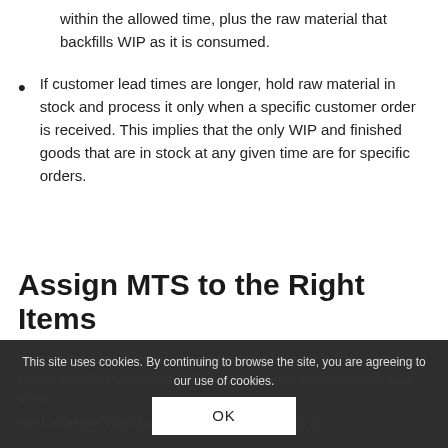within the allowed time, plus the raw material that backfills WIP as it is consumed.
If customer lead times are longer, hold raw material in stock and process it only when a specific customer order is received. This implies that the only WIP and finished goods that are in stock at any given time are for specific orders.
Assign MTS to the Right Items
Start by defining where inventory should be held, i.e. which processes should hold finished goods, WIP, or raw material in stock to meet customer lead times.
Next, evaluate individual items wherever inventory is
This site uses cookies. By continuing to browse the site, you are agreeing to our use of cookies.